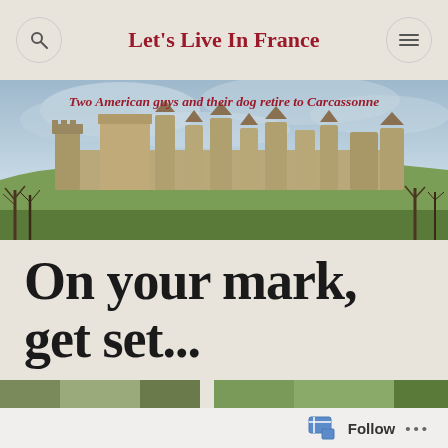Let's Live In France
[Figure (photo): Banner photo of the medieval castle of Carcassonne with subtitle 'Two American guys and their dog retire to Carcassonne' overlaid in red italic text on a landscape photo showing the fortified citadel on a hill with trees and cloudy sky.]
On your mark, get set...
[Figure (photo): Partial thumbnail images visible at the bottom of the page]
Follow